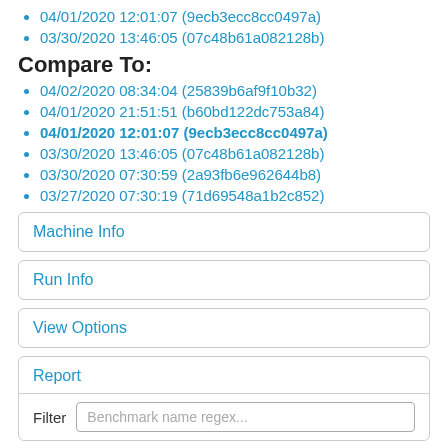04/01/2020 12:01:07 (9ecb3ecc8cc0497a)
03/30/2020 13:46:05 (07c48b61a082128b)
Compare To:
04/02/2020 08:34:04 (25839b6af9f10b32)
04/01/2020 21:51:51 (b60bd122dc753a84)
04/01/2020 12:01:07 (9ecb3ecc8cc0497a) [bold]
03/30/2020 13:46:05 (07c48b61a082128b)
03/30/2020 07:30:59 (2a93fb6e962644b8)
03/27/2020 07:30:19 (71d69548a1b2c852)
Machine Info
Run Info
View Options
Report
Filter  Benchmark name regex...